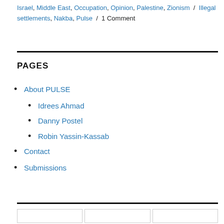Israel, Middle East, Occupation, Opinion, Palestine, Zionism / Illegal settlements, Nakba, Pulse / 1 Comment
PAGES
About PULSE
Idrees Ahmad
Danny Postel
Robin Yassin-Kassab
Contact
Submissions